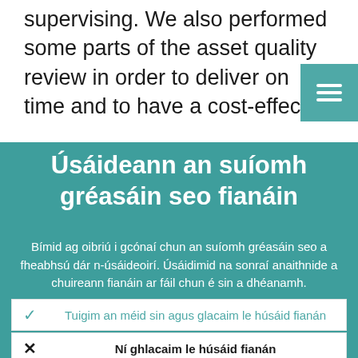supervising. We also performed some parts of the asset quality review in order to deliver on time and to have a cost-effectiv
Úsáideann an suíomh gréasáin seo fianáin
Bímid ag oibriú i gcónaí chun an suíomh gréasáin seo a fheabhsú dár n-úsáideoirí. Úsáidimid na sonraí anaithnide a chuireann fianáin ar fáil chun é sin a dhéanamh.
Foghlaim tuilleadh faoin gcaoi a n-úsáidimid fianáin
Tuigim an méid sin agus glacaim le húsáid fianán
Ní ghlacaim le húsáid fianán